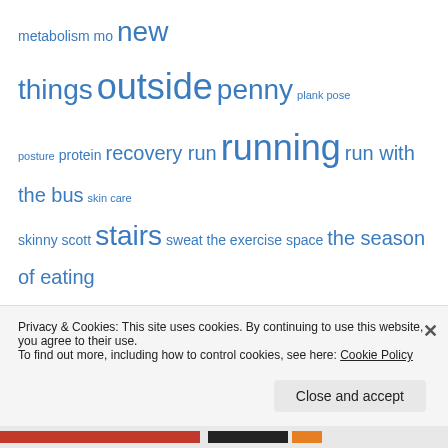metabolism mo new things outside penny plank pose posture protein recovery run running run with the bus skin care skinny scott stairs sweat the exercise space the season of eating trail walk warrior dash workout yoga
Recent Posts
Happy Summer! Don't forget to hydrate inside and out to stay strong and looking good!
Gawd! She's gonna make me workout in the rain!
Privacy & Cookies: This site uses cookies. By continuing to use this website, you agree to their use. To find out more, including how to control cookies, see here: Cookie Policy